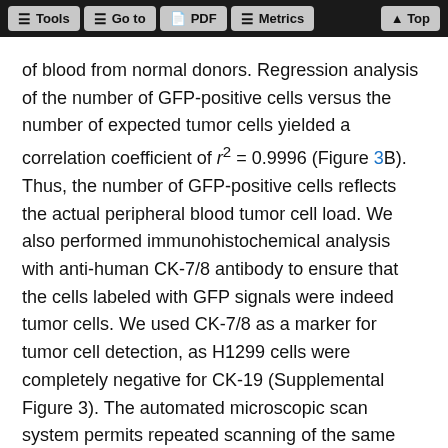Tools  Go to  PDF  Metrics  Top
of blood from normal donors. Regression analysis of the number of GFP-positive cells versus the number of expected tumor cells yielded a correlation coefficient of r² = 0.9996 (Figure 3B). Thus, the number of GFP-positive cells reflects the actual peripheral blood tumor cell load. We also performed immunohistochemical analysis with anti-human CK-7/8 antibody to ensure that the cells labeled with GFP signals were indeed tumor cells. We used CK-7/8 as a marker for tumor cell detection, as H1299 cells were completely negative for CK-19 (Supplemental Figure 3). The automated microscopic scan system permits repeated scanning of the same fields repeatedly by a 2-dimensional line scanning technology. Merged images of fluorescent detection and CK-7/8 immunostaining confirmed that H1299 human lung cancer cells stably transfected